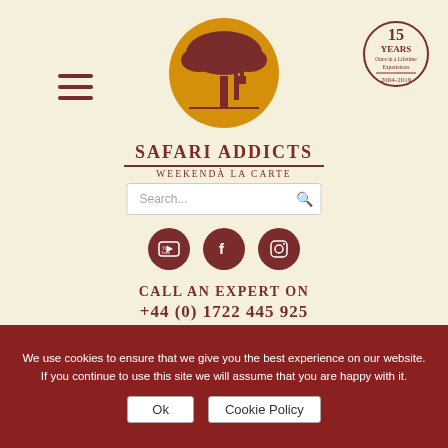[Figure (logo): Safari Addicts logo with acacia tree silhouette on golden circle, with a giraffe, dark red color scheme]
SAFARI ADDICTS
WEEKEND À LA CARTE
[Figure (logo): 15 YEARS badge circle: '15 YEARS Once in a Lifetime Experiences 2004-2019']
[Figure (screenshot): Search bar with placeholder text 'Search...' and magnifying glass icon]
[Figure (infographic): Three dark red circular social media icon buttons: YouTube, Facebook, Instagram]
CALL AN EXPERT ON
+44 (0) 1722 445 925
[Figure (photo): Photo of rocky terrain, reptile or stones in natural outdoor setting, dark earthy tones]
We use cookies to ensure that we give you the best experience on our website. If you continue to use this site we will assume that you are happy with it.